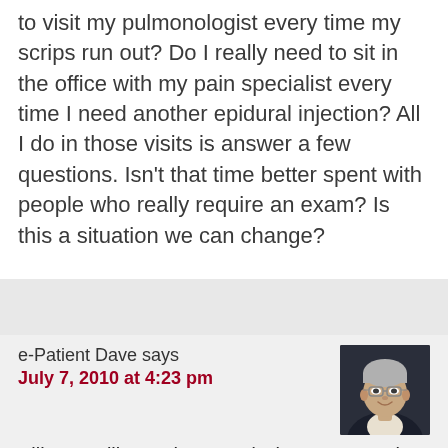to visit my pulmonologist every time my scrips run out? Do I really need to sit in the office with my pain specialist every time I need another epidural injection? All I do in those visits is answer a few questions. Isn't that time better spent with people who really require an exam? Is this a situation we can change?
e-Patient Dave says
July 7, 2010 at 4:23 pm
[Figure (photo): Headshot of an older man with gray hair and glasses, smiling, wearing a dark suit]
BillDog, will you shut UP :-) about overstaying your welcome?? Just put that crap out of your mind (and keep it out of my ears).
In my experience there's no correlation